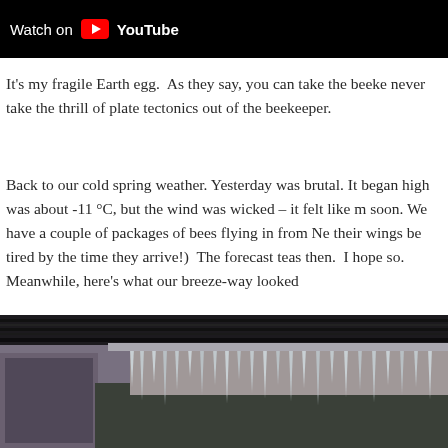[Figure (screenshot): YouTube 'Watch on YouTube' bar overlaid on a tan/brown background video thumbnail]
It's my fragile Earth egg. As they say, you can take the beeke never take the thrill of plate tectonics out of the beekeeper.
Back to our cold spring weather. Yesterday was brutal. It began high was about -11 °C, but the wind was wicked – it felt like m soon. We have a couple of packages of bees flying in from Ne their wings be tired by the time they arrive!) The forecast teas then. I hope so. Meanwhile, here's what our breeze-way looked
[Figure (photo): Photo of a breeze-way showing icicles hanging from a dark roof overhang with snow-covered trees in the background]